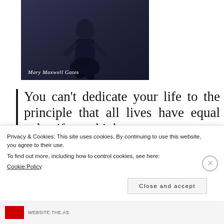[Figure (photo): Photo of Mary Maxwell Gates — a woman in dark clothing seated, photographed from a low angle against a dark background. Her name appears in white italic text at the bottom left of the photo.]
You can't dedicate your life to the principle that all lives have equal value if you think
Privacy & Cookies: This site uses cookies. By continuing to use this website, you agree to their use.
To find out more, including how to control cookies, see here:
Cookie Policy
Close and accept